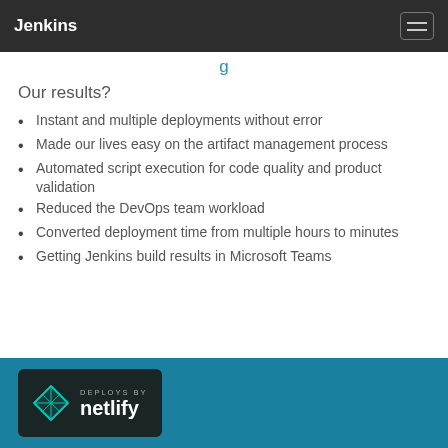Jenkins
g
Our results?
Instant and multiple deployments without error
Made our lives easy on the artifact management process
Automated script execution for code quality and product validation
Reduced the DevOps team workload
Converted deployment time from multiple hours to minutes
Getting Jenkins build results in Microsoft Teams
[Figure (logo): Netlify 'Deploys by Netlify' badge with teal diamond logo on dark background]